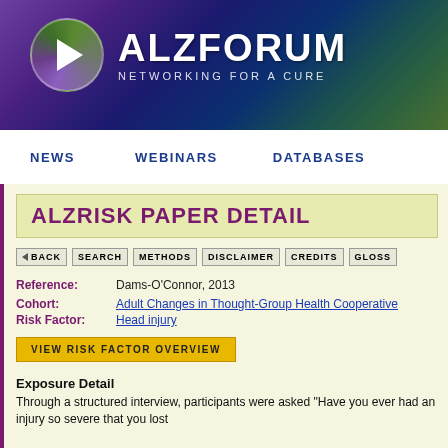[Figure (logo): AlzForum logo with circular play-button icon and text 'ALZFORUM NETWORKING FOR A CURE' on a dark purple/teal gradient banner background]
NEWS    WEBINARS    DATABASES
ALZRISK PAPER DETAIL
BACK  SEARCH  METHODS  DISCLAIMER  CREDITS  GLOSSA...
Reference: Dams-O'Connor, 2013
Cohort: Adult Changes in Thought-Group Health Cooperative
Risk Factor: Head injury
VIEW RISK FACTOR OVERVIEW
Exposure Detail
Through a structured interview, participants were asked "Have you ever had an injury so severe that you lost consciousness?" If the participants responded in the affirmative, they...